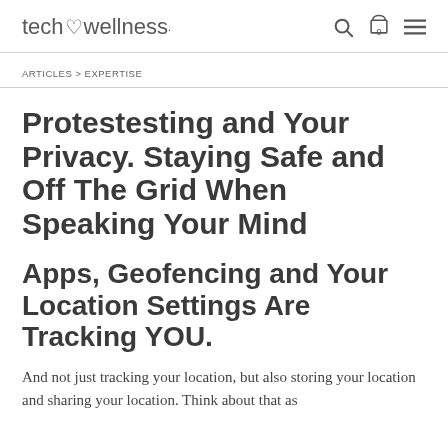tech wellness | search | cart 0 | menu
ARTICLES > EXPERTISE
Protestesting and Your Privacy. Staying Safe and Off The Grid When Speaking Your Mind
Apps, Geofencing and Your Location Settings Are Tracking YOU.
And not just tracking your location, but also storing your location and sharing your location. Think about that as